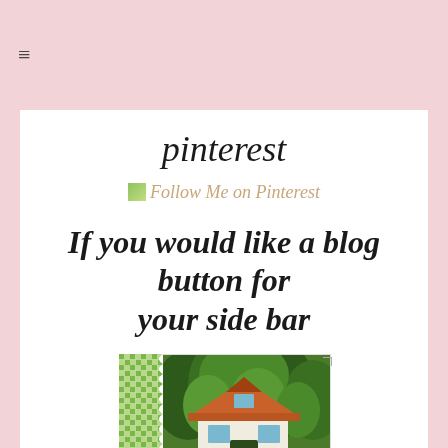≡
pinterest
Follow Me on Pinterest
If you would like a blog button for your side bar
[Figure (illustration): A stamp-style image with green gingham border on the left side, showing a white cottage/house with orange roof surrounded by green trees. Below the house image is the text 'Storybook' with a decorative capital S.]